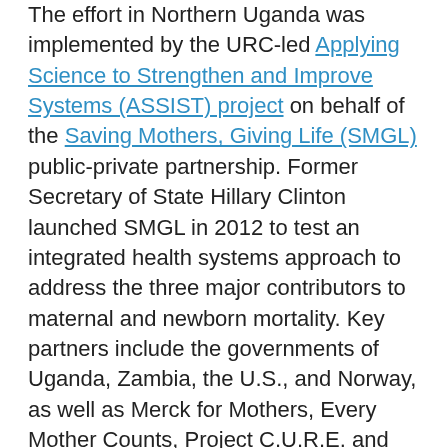The effort in Northern Uganda was implemented by the URC-led Applying Science to Strengthen and Improve Systems (ASSIST) project on behalf of the Saving Mothers, Giving Life (SMGL) public-private partnership. Former Secretary of State Hillary Clinton launched SMGL in 2012 to test an integrated health systems approach to address the three major contributors to maternal and newborn mortality. Key partners include the governments of Uganda, Zambia, the U.S., and Norway, as well as Merck for Mothers, Every Mother Counts, Project C.U.R.E. and the American College of Obstetricians and Gynecologists.
“The participatory nature and skill building aspects of this effort were important for overcoming quality of care barriers associated